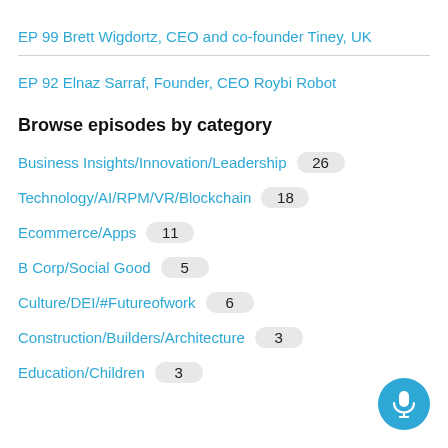EP 99 Brett Wigdortz, CEO and co-founder Tiney, UK
EP 92 Elnaz Sarraf, Founder, CEO Roybi Robot
Browse episodes by category
Business Insights/Innovation/Leadership  26
Technology/AI/RPM/VR/Blockchain  18
Ecommerce/Apps  11
B Corp/Social Good  5
Culture/DEI/#Futureofwork  6
Construction/Builders/Architecture  3
Education/Children  3